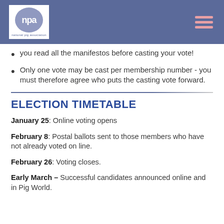NPA - National Pig Association header with logo and menu
you read all the manifestos before casting your vote!
Only one vote may be cast per membership number - you must therefore agree who puts the casting vote forward.
ELECTION TIMETABLE
January 25: Online voting opens
February 8: Postal ballots sent to those members who have not already voted on line.
February 26: Voting closes.
Early March – Successful candidates announced online and in Pig World.